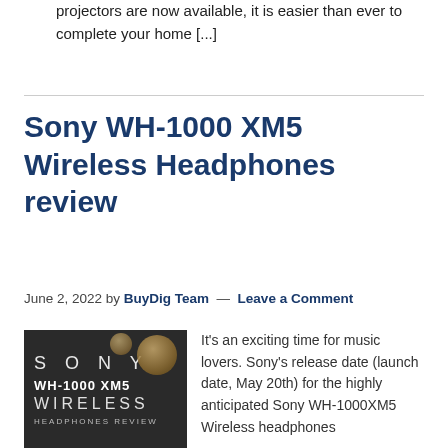projectors are now available, it is easier than ever to complete your home [...]
Sony WH-1000 XM5 Wireless Headphones review
June 2, 2022 by BuyDig Team — Leave a Comment
[Figure (photo): Sony WH-1000 XM5 Wireless Headphones Review promotional image with dark background showing SONY branding, model name WH-1000 XM5, WIRELESS text, and HEADPHONES REVIEW text]
It's an exciting time for music lovers. Sony's release date (launch date, May 20th) for the highly anticipated Sony WH-1000XM5 Wireless headphones